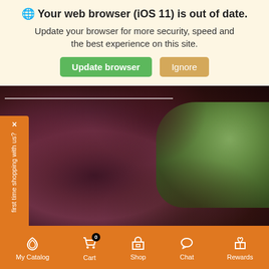🌐 Your web browser (iOS 11) is out of date. Update your browser for more security, speed and the best experience on this site.
[Figure (screenshot): Browser update banner with 'Update browser' green button and 'Ignore' tan button]
[Figure (photo): Close-up photo of red/purple kale or lettuce leaves on the left, green leafy vegetable on the right]
× first time shopping with us?
My Catalog
Cart
Shop
Chat
Rewards